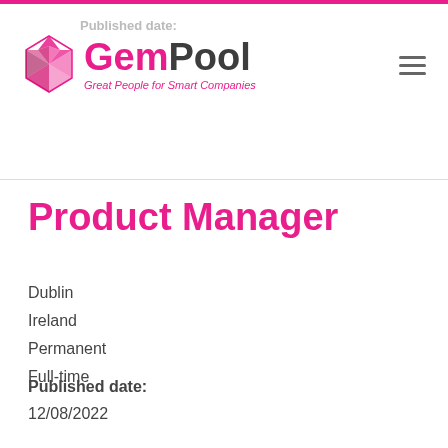GemPool - Great People for Smart Companies
Product Manager
Dublin
Ireland
Permanent
Full-time
Published date:
12/08/2022
Senior Firmware Design Engineer
Dublin
Ireland
Permanent
We use cookies on our website to give you the most relevant experience by remembering your preferences and repeat visits. By clicking “Accept”, you consent to the use of ALL the cookies.